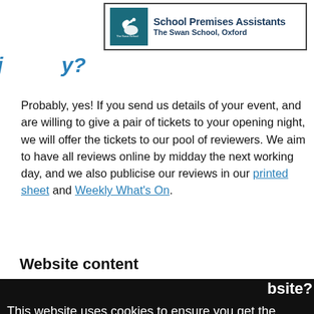[Figure (logo): School Premises Assistants - The Swan School, Oxford advertisement banner with teal logo and bold dark blue text]
Probably, yes! If you send us details of your event, and are willing to give a pair of tickets to your opening night, we will offer the tickets to our pool of reviewers. We aim to have all reviews online by midday the next working day, and we also publicise our reviews in our printed sheet and Weekly What's On.
Website content
This website uses cookies to ensure you get the best experience on our website. Learn more
Got it!